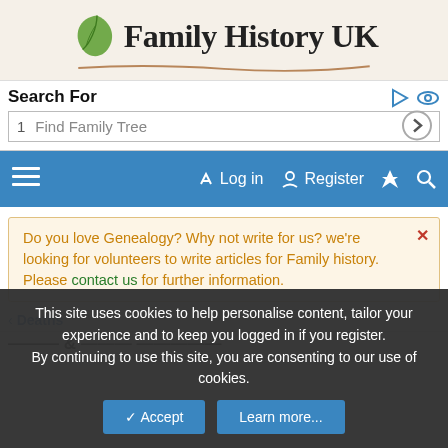[Figure (logo): Family History UK logo with green leaf and brown branch]
Search For
1  Find Family Tree
≡  Log in  Register  ⚡  🔍
Do you love Genealogy? Why not write for us? we're looking for volunteers to write articles for Family history. Please contact us for further information.
< Deaths
This site uses cookies to help personalise content, tailor your experience and to keep you logged in if you register. By continuing to use this site, you are consenting to our use of cookies.